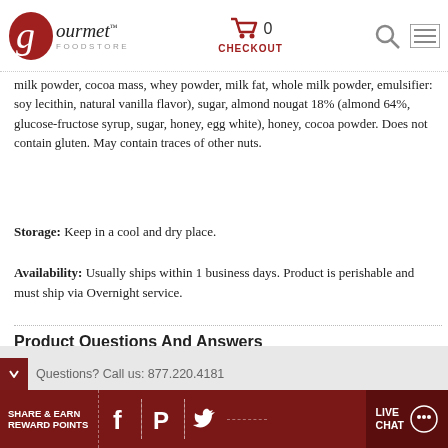[Figure (logo): Gourmet Foodstore logo with stylized red G and cart/checkout icons in header navigation]
milk powder, cocoa mass, whey powder, milk fat, whole milk powder, emulsifier: soy lecithin, natural vanilla flavor), sugar, almond nougat 18% (almond 64%, glucose-fructose syrup, sugar, honey, egg white), honey, cocoa powder. Does not contain gluten. May contain traces of other nuts.
Storage: Keep in a cool and dry place.
Availability: Usually ships within 1 business days. Product is perishable and must ship via Overnight service.
Product Questions And Answers
ASK A QUESTION
Questions? Call us: 877.220.4181
SHARE & EARN REWARD POINTS
LIVE CHAT